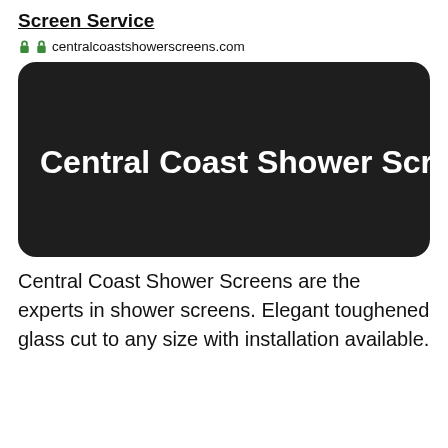Screen Service
centralcoastshowerscreens.com
[Figure (logo): Dark rounded rectangle image with white bold text reading 'Central Coast Shower Screens']
Central Coast Shower Screens are the experts in shower screens. Elegant toughened glass cut to any size with installation available.